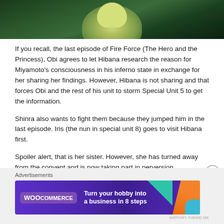[Figure (illustration): Anime character screenshot from Fire Force, showing a character with light hair and green/yellow tones against a dark green background]
If you recall, the last episode of Fire Force (The Hero and the Princess), Obi agrees to let Hibana research the reason for Miyamoto's consciousness in his inferno state in exchange for her sharing her findings. However, Hibana is not sharing and that forces Obi and the rest of his unit to storm Special Unit 5 to get the information.
Shinra also wants to fight them because they jumped him in the last episode. Iris (the nun in special unit 8) goes to visit Hibana first.
Spoiler alert, that is her sister. However, she has turned away from the convent and is now taking part in perversion.
Advertisements
[Figure (screenshot): WooCommerce advertisement banner with purple background reading 'Turn your hobby into a business in 8 steps']